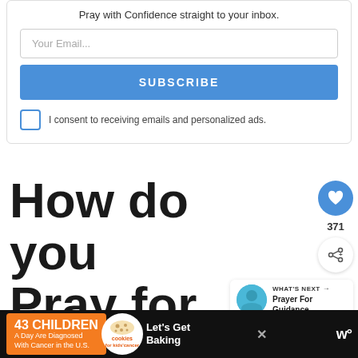Pray with Confidence straight to your inbox.
Your Email...
SUBSCRIBE
I consent to receiving emails and personalized ads.
How do you Pray for Happiness?
371
WHAT'S NEXT → Prayer For Guidance...
43 CHILDREN A Day Are Diagnosed With Cancer in the U.S. cookies for kids'cancer Let's Get Baking